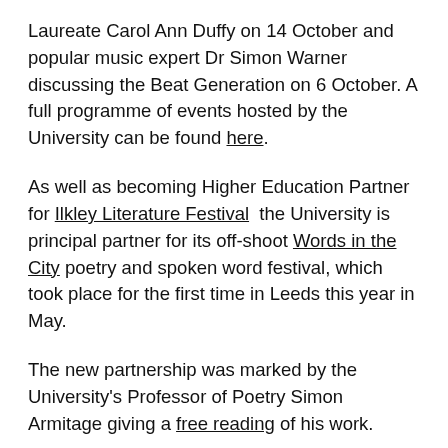Laureate Carol Ann Duffy on 14 October and popular music expert Dr Simon Warner discussing the Beat Generation on 6 October. A full programme of events hosted by the University can be found here.
As well as becoming Higher Education Partner for Ilkley Literature Festival  the University is principal partner for its off-shoot Words in the City poetry and spoken word festival, which took place for the first time in Leeds this year in May.
The new partnership was marked by the University's Professor of Poetry Simon Armitage giving a free reading of his work.
The full Ilkley Literature Festival programme and